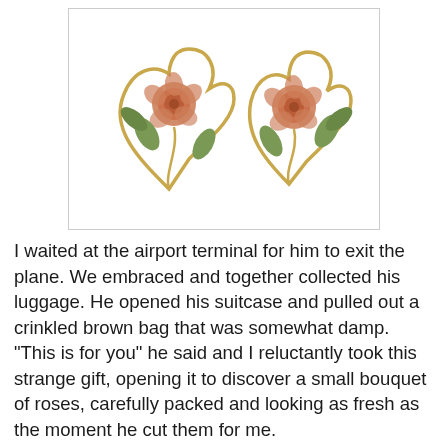[Figure (photo): Two gold and rose-colored floral earrings with rose flowers and green-gold leaf accents, set against a white background with a light gray border.]
I waited at the airport terminal for him to exit the plane. We embraced and together collected his luggage. He opened his suitcase and pulled out a crinkled brown bag that was somewhat damp. "This is for you" he said and I reluctantly took this strange gift, opening it to discover a small bouquet of roses, carefully packed and looking as fresh as the moment he cut them for me.